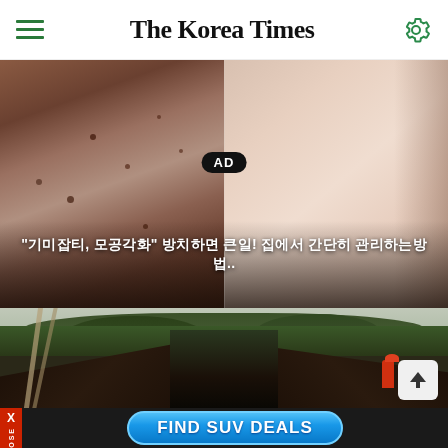The Korea Times
[Figure (photo): Split-screen close-up comparison of two faces: left side shows skin with blemishes/spots, right side shows smoother skin. AD badge visible in center. Korean text overlay at bottom reading advertisement text.]
[Figure (photo): Photo of Korean traditional temple/palace architecture viewed from below, with trees and overcast sky in background. A person in red helmet visible on the right rooftop. A scroll-up arrow button in bottom-right corner.]
FIND SUV DEALS
X CLOSE